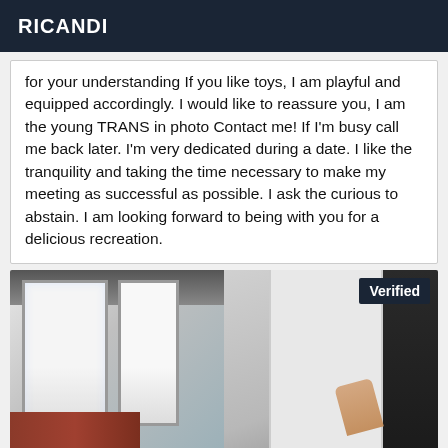RICANDI
for your understanding If you like toys, I am playful and equipped accordingly. I would like to reassure you, I am the young TRANS in photo Contact me! If I'm busy call me back later. I'm very dedicated during a date. I like the tranquility and taking the time necessary to make my meeting as successful as possible. I ask the curious to abstain. I am looking forward to being with you for a delicious recreation.
[Figure (photo): Blurry indoor room photo showing windows with white panels, a dark wall section on the right, and a hand visible at the bottom. A 'Verified' badge appears in the top-right corner.]